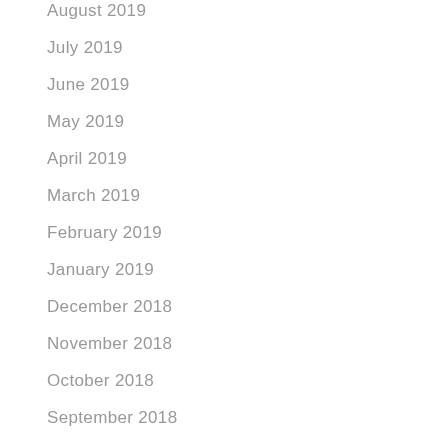August 2019
July 2019
June 2019
May 2019
April 2019
March 2019
February 2019
January 2019
December 2018
November 2018
October 2018
September 2018
August 2018
July 2018
June 2018